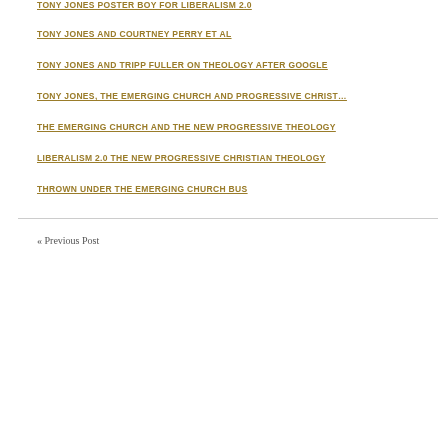TONY JONES POSTER BOY FOR LIBERALISM 2.0
TONY JONES AND COURTNEY PERRY ET AL
TONY JONES AND TRIPP FULLER ON THEOLOGY AFTER GOOGLE
TONY JONES, THE EMERGING CHURCH AND PROGRESSIVE CHRISTIANITY
THE EMERGING CHURCH AND THE NEW PROGRESSIVE THEOLOGY
LIBERALISM 2.0 THE NEW PROGRESSIVE CHRISTIAN THEOLOGY
THROWN UNDER THE EMERGING CHURCH BUS
« Previous Post